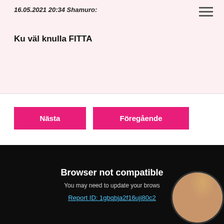16.05.2021 20:34 Shamuro:
Ku väl knulla FITTA
Nästa
Föregående
[Figure (screenshot): Dark browser error screen showing 'Browser not compatible', subtext 'You may need to update your browser', a report ID link 'Report ID: 1gbqbja2f16uji80c2', and a circular cropped image of a person in the bottom right corner.]